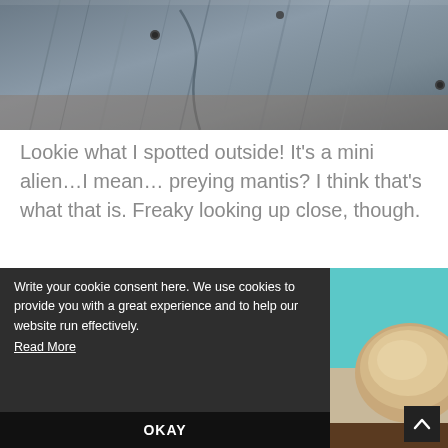[Figure (photo): Close-up photo of weathered grey wooden planks with nails, shot from an angle. Grain texture visible. Slightly blurred background.]
Lookie what I spotted outside! It's a mini alien…I mean… preying mantis? I think that's what that is. Freaky looking up close, though.
Write your cookie consent here. We use cookies to provide you with a great experience and to help our website run effectively. Read More
[Figure (photo): Partial photo showing a bread roll or baked good against a teal/turquoise background.]